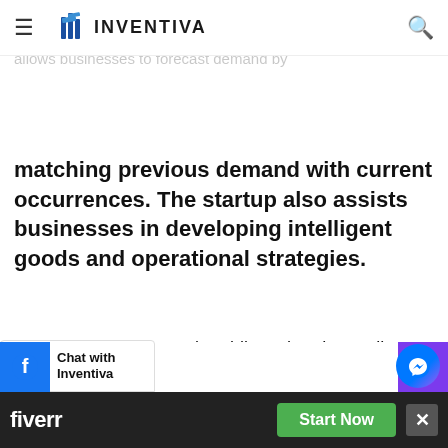INVENTIVA
their competitors by being able to predict which future trends will drive demand. This startup allows businesses to forecast demand by
matching previous demand with current occurrences. The startup also assists businesses in developing intelligent goods and operational strategies.
PredictHQ enables major airlines, hotels, retailers, and transportation companies to precisely forecast fluctuations in demand for their products, services, and personnel. The startup helps
[Figure (screenshot): Chat with Inventiva popup and Fiverr advertisement banner with Start Now button and close button]